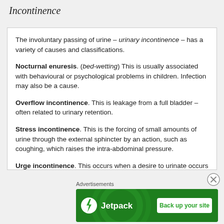Incontinence
The involuntary passing of urine – urinary incontinence – has a variety of causes and classifications.
Nocturnal enuresis. (bed-wetting) This is usually associated with behavioural or psychological problems in children. Infection may also be a cause.
Overflow incontinence. This is leakage from a full bladder – often related to urinary retention.
Stress incontinence. This is the forcing of small amounts of urine through the external sphincter by an action, such as coughing, which raises the intra-abdominal pressure.
Urge incontinence. This occurs when a desire to urinate occurs
Advertisements
[Figure (other): Jetpack advertisement banner with logo and 'Back up your site' button]